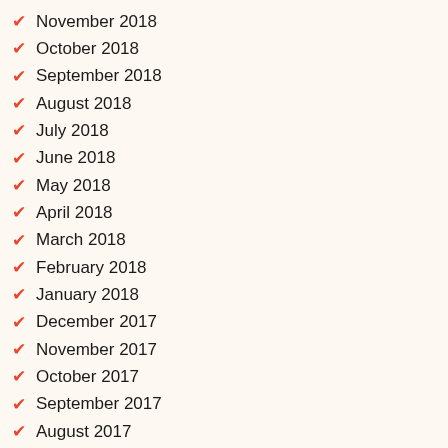November 2018
October 2018
September 2018
August 2018
July 2018
June 2018
May 2018
April 2018
March 2018
February 2018
January 2018
December 2017
November 2017
October 2017
September 2017
August 2017
May 2017
April 2017